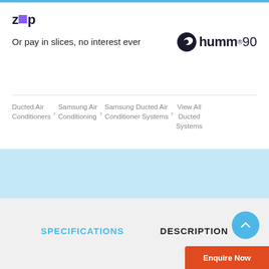[Figure (logo): Zip logo with purple square replacing 'i']
Or pay in slices, no interest ever
[Figure (logo): humm90 logo with fish/bird icon]
Ducted Air Conditioners > Samsung Air Conditioning > Samsung Ducted Air Conditioner Systems > View All Ducted Systems
SPECIFICATIONS
DESCRIPTION